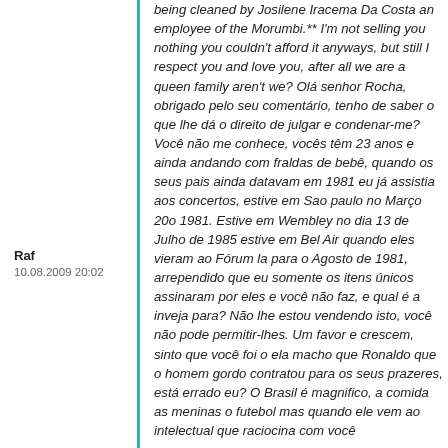being cleaned by Josilene Iracema Da Costa an employee of the Morumbi.** I'm not selling you nothing you couldn't afford it anyways, but still I respect you and love you, after all we are a queen family aren't we? Olá senhor Rocha, obrigado pelo seu comentário, tenho de saber o que lhe dá o direito de julgar e condenar-me? Você não me conhece, vocês têm 23 anos e ainda andando com fraldas de bebê, quando os seus pais ainda datavam em 1981 eu já assistia aos concertos, estive em Sao paulo no Março 20o 1981. Estive em Wembley no dia 13 de Julho de 1985 estive em Bel Air quando eles vieram ao Fórum la para o Agosto de 1981, arrependido que eu somente os itens únicos assinaram por eles e você não faz, e qual é a inveja para? Não lhe estou vendendo isto, você não pode permitir-lhes. Um favor e crescem, sinto que você foi o ela macho que Ronaldo que o homem gordo contratou para os seus prazeres, está errado eu? O Brasil é magnífico, a comida as meninas o futebol mas quando ele vem ao intelectual que raciocina com você
Raf
10.08.2009 20:02